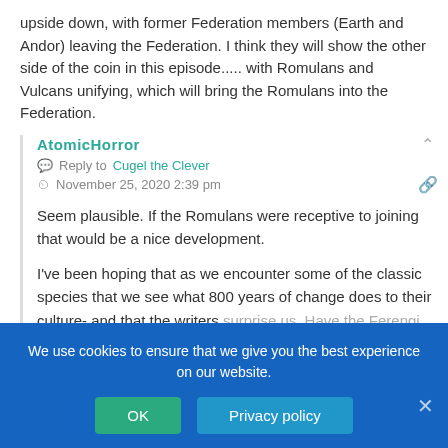upside down, with former Federation members (Earth and Andor) leaving the Federation. I think they will show the other side of the coin in this episode..... with Romulans and Vulcans unifying, which will bring the Romulans into the Federation.
AtomicHorror
Reply to  Cugel the Clever
November 25, 2020 2:39 pm
Seem plausible. If the Romulans were receptive to joining that would be a nice development.
I've been hoping that as we encounter some of the classic species that we see what 800 years of change does to their culture- and that the writers surprise us. Have the Ferengi be socialists. The Federation ideals fo... Show us that the species aren't... they were able to move on from their past the way humans did.
We use cookies to ensure that we give you the best experience on our website.